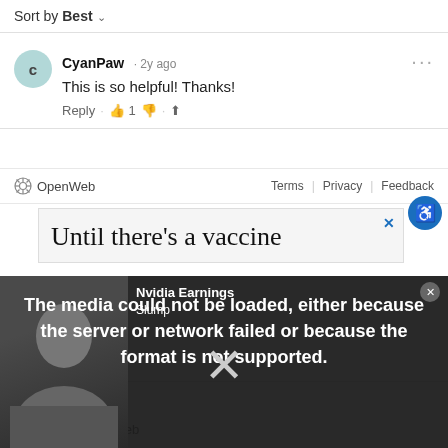Sort by Best
CyanPaw · 2y ago
This is so helpful! Thanks!
Reply · 👍 1 👎 · ⬆
OpenWeb   Terms | Privacy | Feedback
[Figure (screenshot): Advertisement box with text 'Until there's a vaccine']
[Figure (screenshot): Video player overlay showing error: 'The media could not be loaded, either because the server or network failed or because the format is not supported.' with Nvidia Earnings Slump label and X dismiss icon]
Learn more
OpenWeb